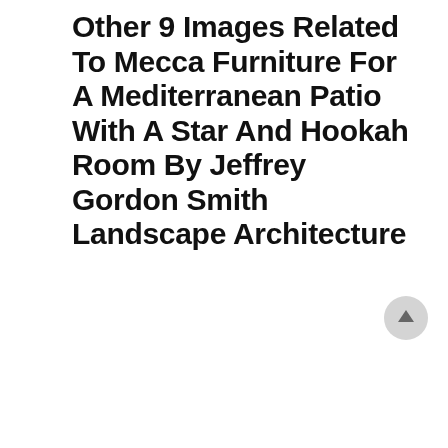Other 9 Images Related To Mecca Furniture For A Mediterranean Patio With A Star And Hookah Room By Jeffrey Gordon Smith Landscape Architecture